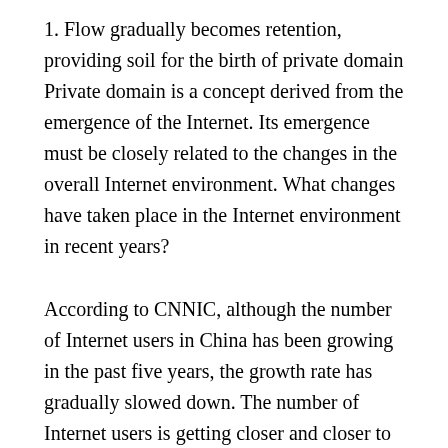1. Flow gradually becomes retention, providing soil for the birth of private domain Private domain is a concept derived from the emergence of the Internet. Its emergence must be closely related to the changes in the overall Internet environment. What changes have taken place in the Internet environment in recent years?
According to CNNIC, although the number of Internet users in China has been growing in the past five years, the growth rate has gradually slowed down. The number of Internet users is getting closer and closer to the total population of China, and the